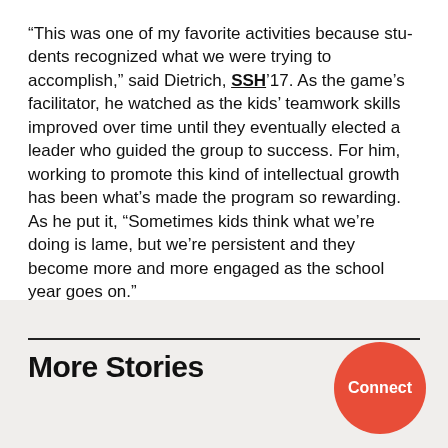“This was one of my favorite activities because students recognized what we were trying to accomplish,” said Dietrich, SSH’17. As the game’s facilitator, he watched as the kids’ teamwork skills improved over time until they eventually elected a leader who guided the group to success. For him, working to promote this kind of intellectual growth has been what’s made the program so rewarding. As he put it, “Sometimes kids think what we’re doing is lame, but we’re persistent and they become more and more engaged as the school year goes on.”
Read the full story at news@Northeastern
More Stories
[Figure (other): Red circular Connect button in the bottom-right corner of the page]